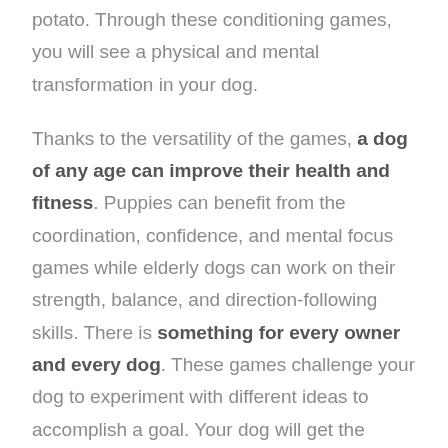potato. Through these conditioning games, you will see a physical and mental transformation in your dog.
Thanks to the versatility of the games, a dog of any age can improve their health and fitness. Puppies can benefit from the coordination, confidence, and mental focus games while elderly dogs can work on their strength, balance, and direction-following skills. There is something for every owner and every dog. These games challenge your dog to experiment with different ideas to accomplish a goal. Your dog will get the exercise they need while building stamina, balance, hind end coordination, mental focus, and improving their overall athletic skills.